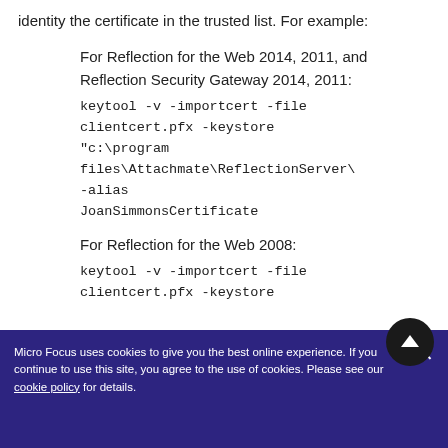identity the certificate in the trusted list. For example:
For Reflection for the Web 2014, 2011, and Reflection Security Gateway 2014, 2011:
For Reflection for the Web 2008:
Micro Focus uses cookies to give you the best online experience. If you continue to use this site, you agree to the use of cookies. Please see our cookie policy for details.